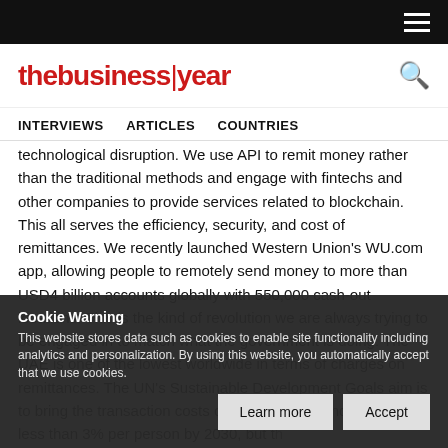thebusinessyear
INTERVIEWS   ARTICLES   COUNTRIES
technological disruption. We use API to remit money rather than the traditional methods and engage with fintechs and other companies to provide services related to blockchain. This all serves the efficiency, security, and cost of remittances. We recently launched Western Union's WU.com app, allowing people to remotely send money to more than USD4 billion accounts globally with 550,000 cash-out locations. This is the kind of revolution we are always trying to be engaged in to match what the government is doing. The UAE is one of the lowest worldwide in terms of charges on remittances. The UN's Sustainable Development Goals aim is to bring the transaction costs of migrant remittances down to less than 3% per person by 2030, but the UAE already achieves below that. Western Union is in sync with what the government wants to achieve in this digital economy. Digital transformation has been described as a national strategy for transforming the whole city under the Smart Dubai project.
Cookie Warning
This website stores data such as cookies to enable site functionality including analytics and personalization. By using this website, you automatically accept that we use cookies.